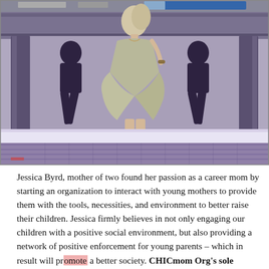[Figure (photo): A woman wearing a loose olive/sage green dress and strappy heeled sandals walks on a cobblestone street in front of a bridge structure with silhouetted figures painted on it. The image has a slightly desaturated, vintage tone.]
Jessica Byrd, mother of two found her passion as a career mom by starting an organization to interact with young mothers to provide them with the tools, necessities, and environment to better raise their children. Jessica firmly believes in not only engaging our children with a positive social environment, but also providing a network of positive enforcement for young parents – which in result will promote a better society. CHICmom Org's sole purpose is to